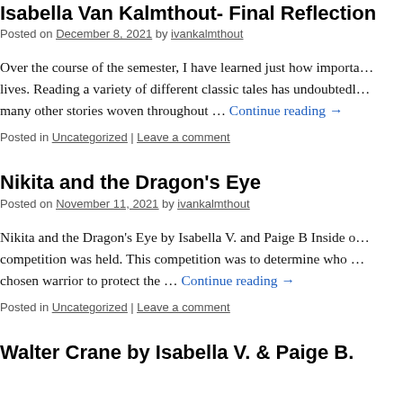Isabella Van Kalmthout- Final Reflection
Posted on December 8, 2021 by ivankalmthout
Over the course of the semester, I have learned just how important … lives. Reading a variety of different classic tales has undoubtedly … many other stories woven throughout … Continue reading →
Posted in Uncategorized | Leave a comment
Nikita and the Dragon's Eye
Posted on November 11, 2021 by ivankalmthout
Nikita and the Dragon's Eye by Isabella V. and Paige B Inside o… competition was held. This competition was to determine who … chosen warrior to protect the … Continue reading →
Posted in Uncategorized | Leave a comment
Walter Crane by Isabella V. & Paige B.